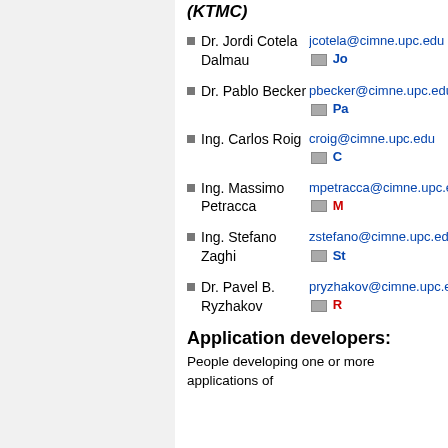(KTMC)
Dr. Jordi Cotela Dalmau — jcotela@cimne.upc.edu
Dr. Pablo Becker — pbecker@cimne.upc.edu
Ing. Carlos Roig — croig@cimne.upc.edu
Ing. Massimo Petracca — mpetracca@cimne.upc.edu
Ing. Stefano Zaghi — zstefano@cimne.upc.edu
Dr. Pavel B. Ryzhakov — pryzhakov@cimne.upc.edu
Application developers:
People developing one or more applications of